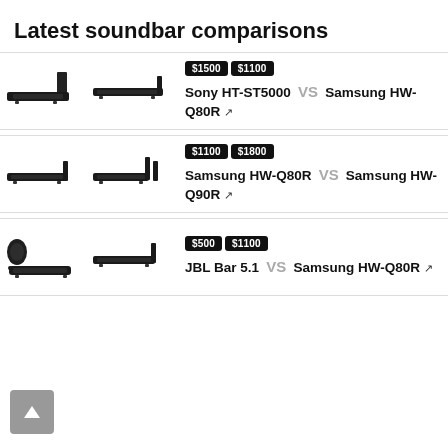Latest soundbar comparisons
$1500 $1100 Sony HT-ST5000 VS Samsung HW-Q80R
$1100 $1800 Samsung HW-Q80R VS Samsung HW-Q90R
$500 $1100 JBL Bar 5.1 VS Samsung HW-Q80R